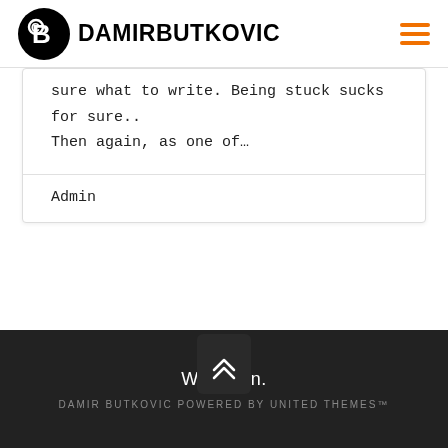DAMIR BUTKOVIC
sure what to write. Being stuck sucks for sure.. Then again, as one of…
Admin
[Figure (other): Scroll-to-top button with double chevron up arrow on dark rounded rectangle background]
We ♥ fun. DAMIR BUTKOVIC POWERED BY UNITED THEMES™